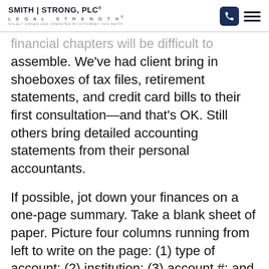SMITH | STRONG, PLC® LEGAL STRENGTH® SOLELY OWNED AND OPERATED BY ATTORNEY VAN SMITH
financial chapters will be difficult to assemble. We've had client bring in shoeboxes of tax files, retirement statements, and credit card bills to their first consultation—and that's OK. Still others bring detailed accounting statements from their personal accountants.
If possible, jot down your finances on a one-page summary. Take a blank sheet of paper. Picture four columns running from left to write on the page: (1) type of account; (2) institution; (3) account #; and (4) balance.
Then outline your: